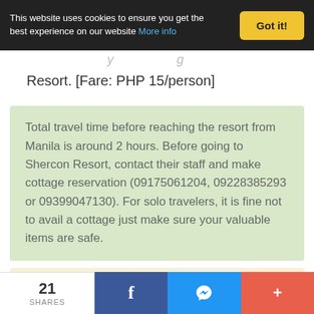This website uses cookies to ensure you get the best experience on our website More info | Got it!
Resort. [Fare: PHP 15/person]
Total travel time before reaching the resort from Manila is around 2 hours. Before going to Shercon Resort, contact their staff and make cottage reservation (09175061204, 09228385293 or 09399047130). For solo travelers, it is fine not to avail a cottage just make sure your valuable items are safe.
It is better to bring your own food since there are no
21 SHARES | f | messenger | +